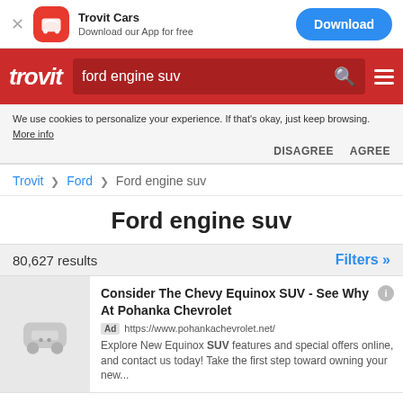[Figure (screenshot): Trovit Cars app banner with red icon, Download button]
[Figure (screenshot): Trovit red navigation bar with search box showing 'ford engine suv']
We use cookies to personalize your experience. If that's okay, just keep browsing. More info DISAGREE AGREE
Trovit > Ford > Ford engine suv
Ford engine suv
80,627 results   Filters »
Consider The Chevy Equinox SUV - See Why At Pohanka Chevrolet
Ad https://www.pohankachevrolet.net/
Explore New Equinox SUV features and special offers online, and contact us today! Take the first step toward owning your new...